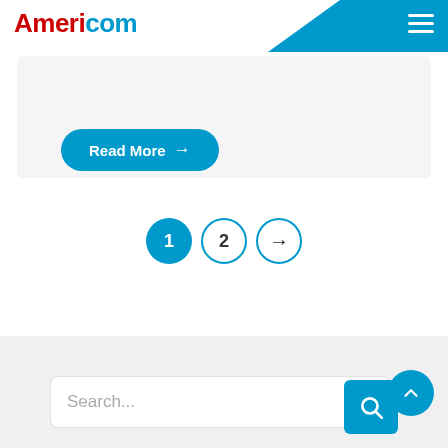Americom
[Figure (screenshot): Read More button with right arrow, teal/blue rounded pill shape on light gray card background]
[Figure (other): Pagination controls: filled teal circle with '1', outlined circle with '2', outlined circle with right arrow]
[Figure (other): Search bar with placeholder text 'Search...' and teal search button icon, plus scroll-to-top circular button]